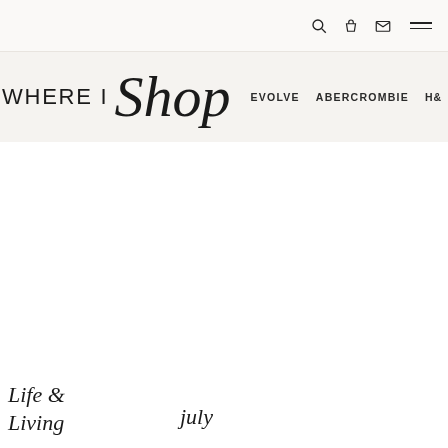Navigation header with search, bag, mail icons and hamburger menu
WHERE I Shop
EVOLVE   ABERCROMBIE   H&
Life & Living
july